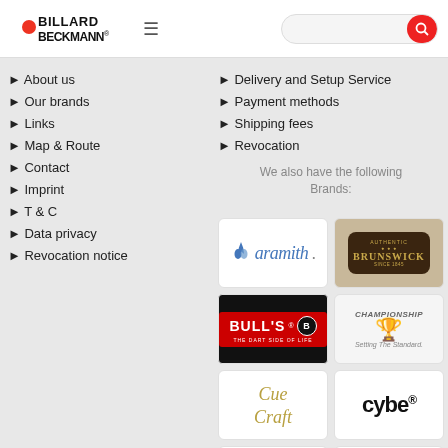[Figure (logo): Billard Beckmann logo with red dot and bold text]
About us
Our brands
Links
Map & Route
Contact
Imprint
T & C
Data privacy
Revocation notice
Delivery and Setup Service
Payment methods
Shipping fees
Revocation
We also have the following Brands:
[Figure (logo): Aramith logo with blue icon and italic text]
[Figure (logo): Brunswick billiards logo on dark background with gold text]
[Figure (logo): BULL'S darts logo on red background]
[Figure (logo): Championship logo with trophy graphic and Setting The Standard tagline]
[Figure (logo): Cue Craft logo in gold italic script]
[Figure (logo): cybe® logo in black bold text]
[Figure (logo): Forstmann logo partially visible at bottom]